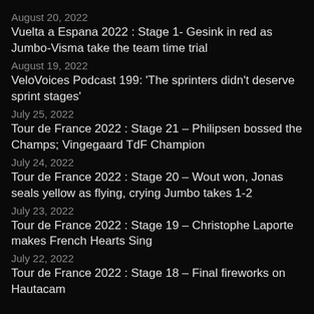August 20, 2022
Vuelta a Espana 2022 : Stage 1- Gesink in red as Jumbo-Visma take the team time trial
August 19, 2022
VeloVoices Podcast 199: 'The sprinters didn't deserve sprint stages'
July 25, 2022
Tour de France 2022 : Stage 21 – Philipsen bossed the Champs; Vingegaard TdF Champion
July 24, 2022
Tour de France 2022 : Stage 20 – Wout won, Jonas seals yellow as flying, crying Jumbo takes 1-2
July 23, 2022
Tour de France 2022 : Stage 19 – Christophe Laporte makes French Hearts Sing
July 22, 2022
Tour de France 2022 : Stage 18 – Final fireworks on Hautacam